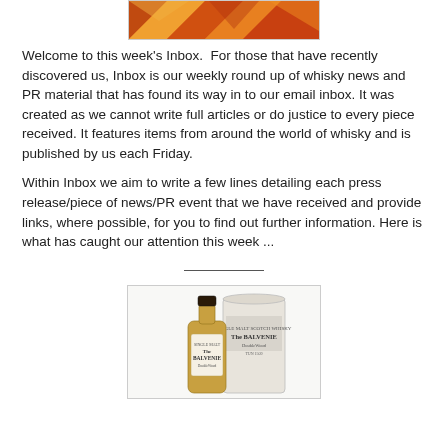[Figure (photo): Decorative banner image with warm orange/red/yellow geometric pattern]
Welcome to this week's Inbox.  For those that have recently discovered us, Inbox is our weekly round up of whisky news and PR material that has found its way in to our email inbox. It was created as we cannot write full articles or do justice to every piece received. It features items from around the world of whisky and is published by us each Friday.
Within Inbox we aim to write a few lines detailing each press release/piece of news/PR event that we have received and provide links, where possible, for you to find out further information. Here is what has caught our attention this week ...
[Figure (photo): Photo of The Balvenie whisky bottle and cylindrical box packaging]